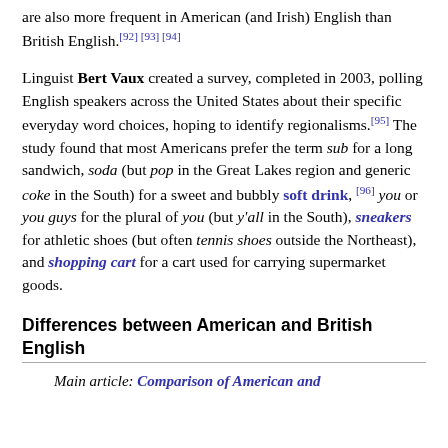are also more frequent in American (and Irish) English than British English. [92] [93] [94]
Linguist Bert Vaux created a survey, completed in 2003, polling English speakers across the United States about their specific everyday word choices, hoping to identify regionalisms. [95] The study found that most Americans prefer the term sub for a long sandwich, soda (but pop in the Great Lakes region and generic coke in the South) for a sweet and bubbly soft drink, [96] you or you guys for the plural of you (but y'all in the South), sneakers for athletic shoes (but often tennis shoes outside the Northeast), and shopping cart for a cart used for carrying supermarket goods.
Differences between American and British English
Main article: Comparison of American and